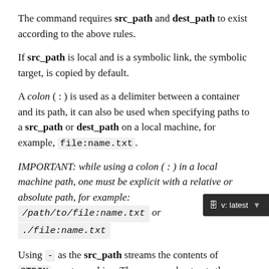The command requires src_path and dest_path to exist according to the above rules.
If src_path is local and is a symbolic link, the symbolic target, is copied by default.
A colon ( : ) is used as a delimiter between a container and its path, it can also be used when specifying paths to a src_path or dest_path on a local machine, for example, file:name.txt.
IMPORTANT: while using a colon ( : ) in a local machine path, one must be explicit with a relative or absolute path, for example: /path/to/file:name.txt or ./file:name.txt
Using - as the src_path streams the contents of STDIN as a tar archive. The command extracts the contents of the tar to the DEST_PATH in the container. In this case, dest_path must specify a directory. Using - as the